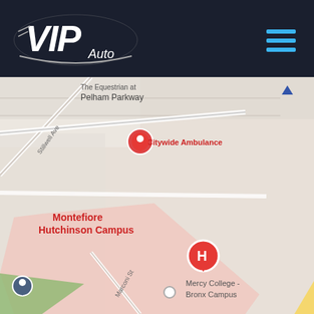[Figure (logo): VIP Auto logo on dark navy background header with hamburger menu icon on the right]
[Figure (map): Google Maps screenshot showing area around Montefiore Hutchinson Campus in the Bronx, NY. Shows Citywide Ambulance, PSAC II, Montefiore Hutchinson Campus with hospital pin, Mercy College Bronx Campus, Colucci Playground, Hutchinson River Pkwy (yellow road), Mayflower Ave, Wilkinson Ave, Pelham Pkwy, Stillwell Ave, Marconi St, and a mini-map in bottom right corner.]